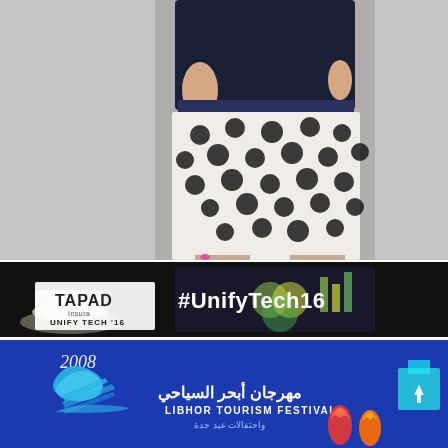[Figure (photo): A person wearing a navy long-sleeve top and a white polka-dot skirt, photographed from waist to thigh against a grey background.]
[Figure (photo): Tapad Unify Tech '16 event banner. Left side shows the TAPAD logo with text 'Unify Tech 16' on a white box beside a coffee cup. Right side shows hands holding a tablet with a dark dashboard and hashtag #UnifyTech16 in large white text.]
[Figure (logo): Libhor Tourism Festival banner. Dark blue background with '2008' in script, a swooping blue wave logo, Arabic text 'مهرجان أبحر السياحي', 'LIBHOR TOURISM FESTIVAL' in white caps, Arabic subtitle, and decorative flame/gem icons on the right.]